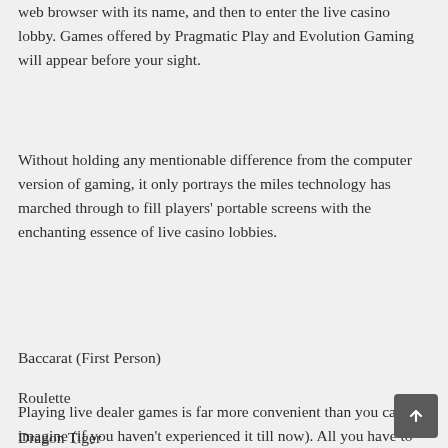web browser with its name, and then to enter the live casino lobby. Games offered by Pragmatic Play and Evolution Gaming will appear before your sight.
Without holding any mentionable difference from the computer version of gaming, it only portrays the miles technology has marched through to fill players' portable screens with the enchanting essence of live casino lobbies.
Baccarat (First Person)
Roulette
Dragon Tiger
Dream Catcher
Mega Ball
Football Studio (First Person)
Playing live dealer games is far more convenient than you can imagine (if you haven't experienced it till now). All you have to